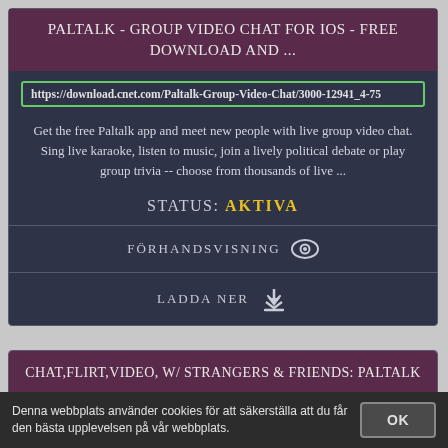PALTALK - GROUP VIDEO CHAT FOR IOS - FREE DOWNLOAD AND ...
https://download.cnet.com/Paltalk-Group-Video-Chat/3000-12941_4-75
Get the free Paltalk app and meet new people with live group video chat. Sing live karaoke, listen to music, join a lively political debate or play group trivia -- choose from thousands of live ...
STATUS: AKTIVA
FÖRHANDSVISNING
LADDA NER
CHAT,FLIRT,VIDEO, W/ STRANGERS & FRIENDS: PALTALK - APPS ON GOOGLE PLAY
Denna webbplats använder cookies för att säkerställa att du får den bästa upplevelsen på vår webbplats.